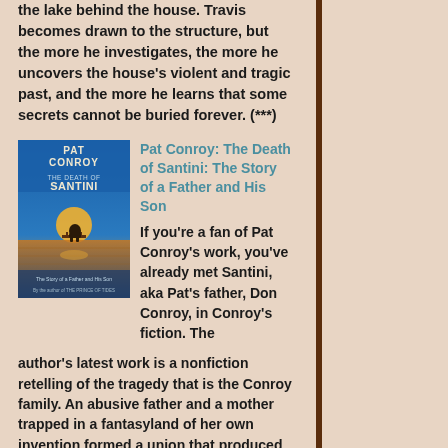the lake behind the house. Travis becomes drawn to the structure, but the more he investigates, the more he uncovers the house's violent and tragic past, and the more he learns that some secrets cannot be buried forever. (***)
[Figure (illustration): Book cover for 'The Death of Santini: The Story of a Father and His Son' by Pat Conroy, showing a silhouette figure seated at a dock with a sunset over water]
Pat Conroy: The Death of Santini: The Story of a Father and His Son If you're a fan of Pat Conroy's work, you've already met Santini, aka Pat's father, Don Conroy, in Conroy's fiction. The author's latest work is a nonfiction retelling of the tragedy that is the Conroy family. An abusive father and a mother trapped in a fantasyland of her own invention formed a union that produced seven truly messed-up offspring. In this book, the surviving Conroy children lay their father, but not their demons, to rest.